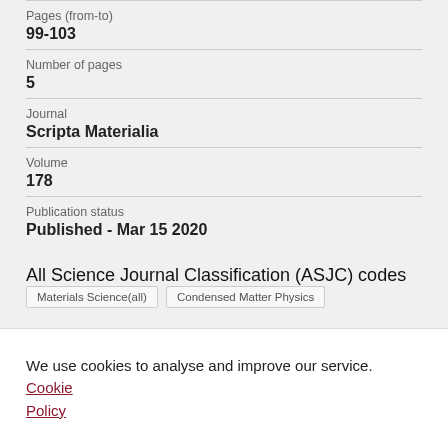Pages (from-to)
99-103
Number of pages
5
Journal
Scripta Materialia
Volume
178
Publication status
Published - Mar 15 2020
All Science Journal Classification (ASJC) codes
Materials Science(all)
Condensed Matter Physics
We use cookies to analyse and improve our service. Cookie Policy